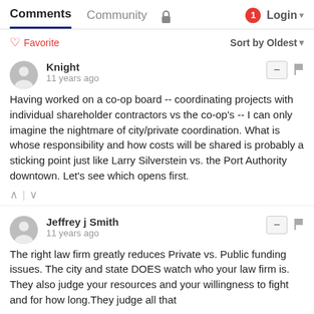Comments | Community | Login
♡ Favorite   Sort by Oldest
Knight
11 years ago
Having worked on a co-op board -- coordinating projects with individual shareholder contractors vs the co-op's -- I can only imagine the nightmare of city/private coordination. What is whose responsibility and how costs will be shared is probably a sticking point just like Larry Silverstein vs. the Port Authority downtown. Let's see which opens first.
Jeffrey j Smith
11 years ago
The right law firm greatly reduces Private vs. Public funding issues. The city and state DOES watch who your law firm is. They also judge your resources and your willingness to fight and for how long.They judge all that